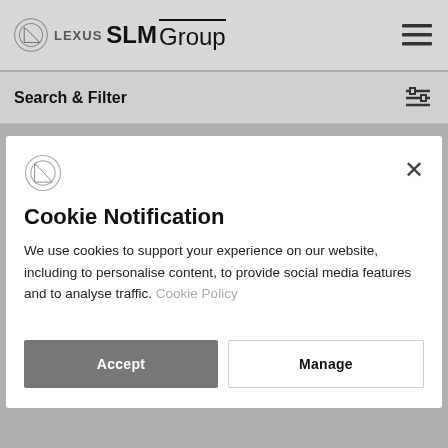LEXUS SLM Group
Search & Filter
Cookie Notification
We use cookies to support your experience on our website, including to personalise content, to provide social media features and to analyse traffic. Cookie Policy